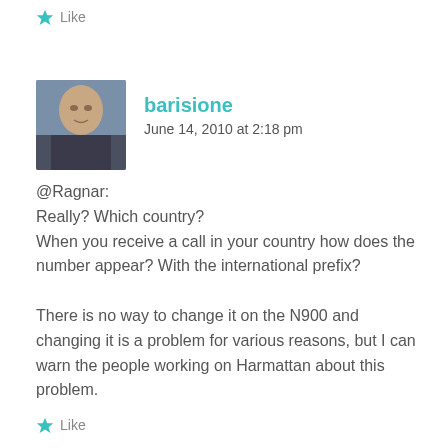Like
[Figure (photo): Avatar photo of user barisione — a bald man photographed outdoors]
barisione
June 14, 2010 at 2:18 pm
@Ragnar:
Really? Which country?
When you receive a call in your country how does the number appear? With the international prefix?

There is no way to change it on the N900 and changing it is a problem for various reasons, but I can warn the people working on Harmattan about this problem.
Like